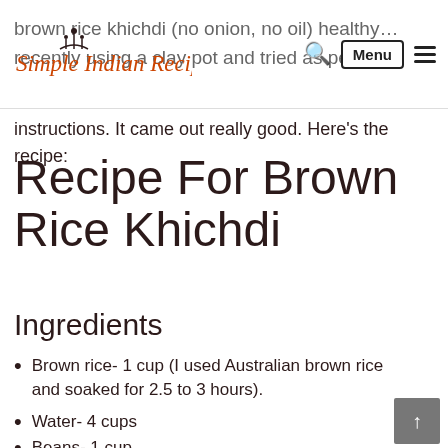Simple Indian Recipes — navigation header with logo, search, menu
brown rice khichdi (no onion, no oil) healthy … recently using a clay pot and tried as per her instructions. It came out really good. Here's the recipe:
Recipe For Brown Rice Khichdi
Ingredients
Brown rice- 1 cup (I used Australian brown rice and soaked for 2.5 to 3 hours).
Water- 4 cups
Beans- 1 cup